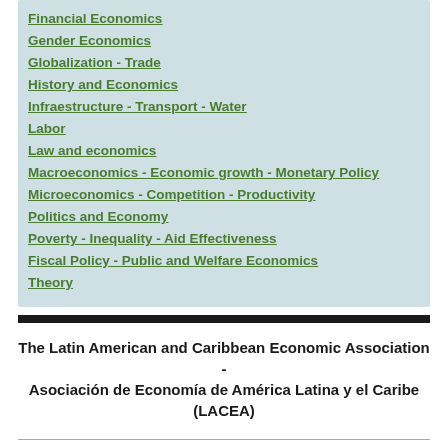Financial Economics
Gender Economics
Globalization - Trade
History and Economics
Infraestructure - Transport - Water
Labor
Law and economics
Macroeconomics - Economic growth - Monetary Policy
Microeconomics - Competition - Productivity
Politics and Economy
Poverty - Inequality - Aid Effectiveness
Fiscal Policy - Public and Welfare Economics
Theory
The Latin American and Caribbean Economic Association - Asociación de Economía de América Latina y el Caribe (LACEA)